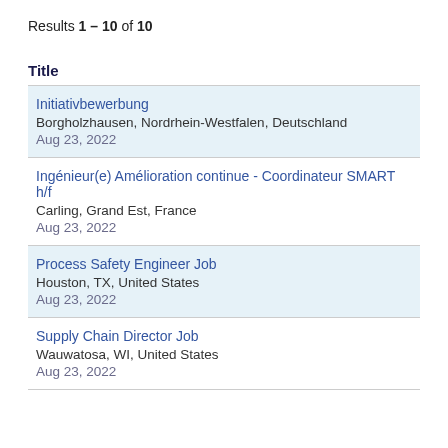Results 1 – 10 of 10
Title
Initiativbewerbung
Borgholzhausen, Nordrhein-Westfalen, Deutschland
Aug 23, 2022
Ingénieur(e) Amélioration continue - Coordinateur SMART h/f
Carling, Grand Est, France
Aug 23, 2022
Process Safety Engineer Job
Houston, TX, United States
Aug 23, 2022
Supply Chain Director Job
Wauwatosa, WI, United States
Aug 23, 2022